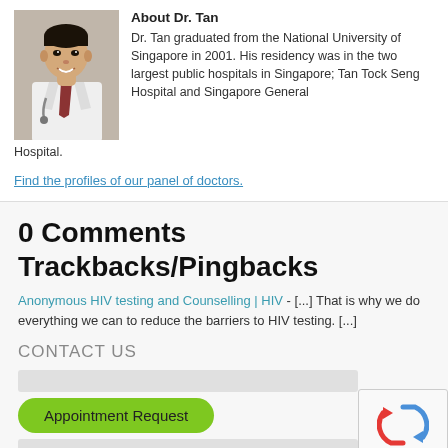[Figure (photo): Photo of Dr. Tan, a smiling Asian male doctor in a white coat with a stethoscope]
About Dr. Tan
Dr. Tan graduated from the National University of Singapore in 2001. His residency was in the two largest public hospitals in Singapore; Tan Tock Seng Hospital and Singapore General Hospital.
Find the profiles of our panel of doctors.
0 Comments Trackbacks/Pingbacks
Anonymous HIV testing and Counselling | HIV - [...] That is why we do everything we can to reduce the barriers to HIV testing. [...]
CONTACT US
Appointment Request